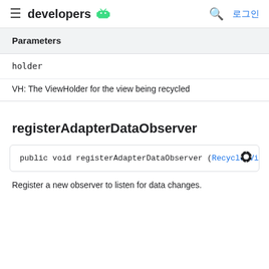developers 로그인
Parameters
| Parameter | Description |
| --- | --- |
| holder | VH: The ViewHolder for the view being recycled |
registerAdapterDataObserver
public void registerAdapterDataObserver (RecyclerVie
Register a new observer to listen for data changes.